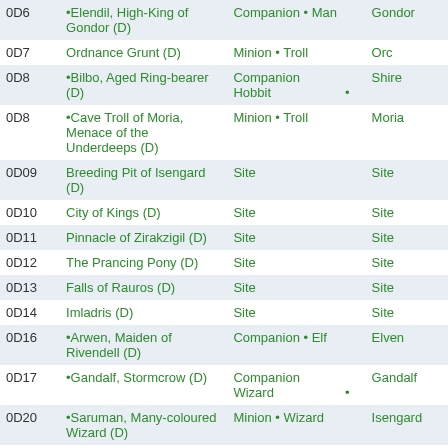| ID | Name | Type | Affiliation |
| --- | --- | --- | --- |
| 0D6 | •Elendil, High-King of Gondor (D) | Companion • Man | Gondor |
| 0D7 | Ordnance Grunt (D) | Minion • Troll | Orc |
| 0D8 | •Bilbo, Aged Ring-bearer (D) | Companion Hobbit • | Shire |
| 0D8 | •Cave Troll of Moria, Menace of the Underdeeps (D) | Minion • Troll | Moria |
| 0D09 | Breeding Pit of Isengard (D) | Site | Site |
| 0D10 | City of Kings (D) | Site | Site |
| 0D11 | Pinnacle of Zirakzigil (D) | Site | Site |
| 0D12 | The Prancing Pony (D) | Site | Site |
| 0D13 | Falls of Rauros (D) | Site | Site |
| 0D14 | Imladris (D) | Site | Site |
| 0D16 | •Arwen, Maiden of Rivendell (D) | Companion • Elf | Elven |
| 0D17 | •Gandalf, Stormcrow (D) | Companion Wizard • | Gandalf |
| 0D20 | •Saruman, Many-coloured Wizard (D) | Minion • Wizard | Isengard |
| 0D21 | Moria Skirmishers (D) | Minion • Orc | Moria |
| 0D23 | •Eomer, Forthwith Banished (D) | Companion • Man | Rohan |
| 0D24 | Morgul Patrol (D) | Minion • Orc | Sauron |
|  | The Lord of the Rings |  |  |